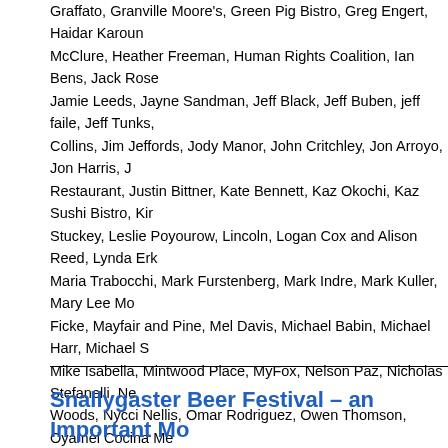Graffato, Granville Moore's, Green Pig Bistro, Greg Engert, Haidar Karoum, McClure, Heather Freeman, Human Rights Coalition, Ian Bens, Jack Rose, Jamie Leeds, Jayne Sandman, Jeff Black, Jeff Buben, jeff faile, Jeff Tunks, Collins, Jim Jeffords, Jody Manor, John Critchley, Jon Arroyo, Jon Harris, J Restaurant, Justin Bittner, Kate Bennett, Kaz Okochi, Kaz Sushi Bistro, Kim Stuckey, Leslie Poyourow, Lincoln, Logan Cox and Alison Reed, Lynda Erk Maria Trabocchi, Mark Furstenberg, Mark Indre, Mark Kuller, Mary Lee Mo Ficke, Mayfair and Pine, Mel Davis, Michael Babin, Michael Harr, Michael S Mike Isabella, Mintwood Place, MyFox, Nelson Paz, Nicholas Stefanelli, Ne Woods, Nycci Nellis, Omar Rodriguez, Owen Thomson, Oyamel Cocina Me Passion Food Hospitality, Paul Yeck, Pearl Dive Oyster Palace, Peter Smith Poste Moderne Brasserie, Proof, Proof / Estadio, PS 7's, PX Restaurant, R Oysters, Rasika, Raynold Mendizabal, Restaurant Eve, Restaurant Nora, R Lacoste, RJ Cooper, Rob Weland, Rob Yealu, Robert Wiedmaier, Rogue 2 Sebastien Archambault and Peter Brett, Sheldon Scott, Sheppard Mansion Gjerde, Steve Yoon, Susan Gage Caterers, Sushi Rock, Taco Bamba, Tedd Dish, The Federalist, The List, The Majestic, The Ritz-Carlton, The Source, Tiffany MacIsaac, TNT, Todd and Ellen Gray, Todd Thrasher, Toki Undergro Albisu, Vikram Sunderam, Virtue Feed & Grain, Volt, Washington Blade, W Morton, Westend Bistro, Wine & Co., Wit and Wisdom, Woodberry Kitchen Zoe's Chocolate Company
Snallygaster Beer Festival – an Important Mo Beer Revolution